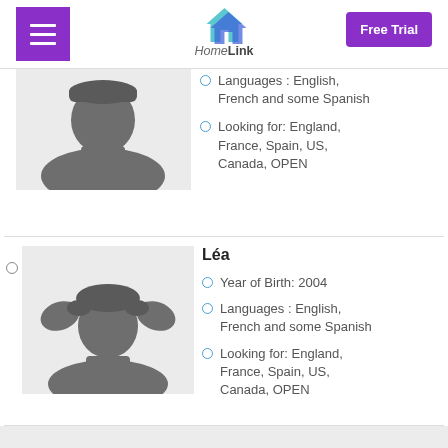HomeLink — Free Trial
[Figure (illustration): Gray silhouette avatar of an older child/adult with short hair on light gray background]
Languages : English, French and some Spanish
Looking for: England, France, Spain, US, Canada, OPEN
Léa
[Figure (illustration): Gray silhouette avatar of a young girl with pigtails on light gray background]
Year of Birth: 2004
Languages : English, French and some Spanish
Looking for: England, France, Spain, US, Canada, OPEN